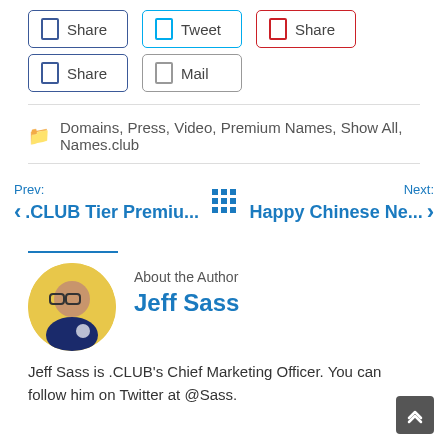Share (Facebook)
Tweet (Twitter)
Share (Pinterest)
Share (LinkedIn)
Mail
Domains, Press, Video, Premium Names, Show All, Names.club
Prev: .CLUB Tier Premiu...
Next: Happy Chinese Ne...
About the Author
Jeff Sass
Jeff Sass is .CLUB's Chief Marketing Officer. You can follow him on Twitter at @Sass.
[Figure (photo): Circular avatar photo of Jeff Sass, a man with glasses on a yellow background]